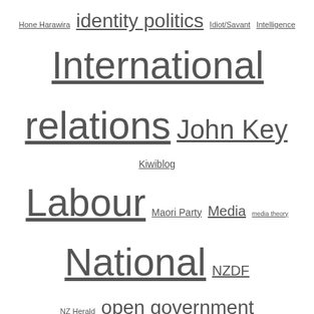[Figure (other): Tag cloud with political and media-related tags of varying font sizes, all underlined as hyperlinks.]
August 2022 (3)
July 2022 (2)
June 2022 (4)
May 2022 (4)
April 2022 (5)
March 2022 (3)
February 2022 (2)